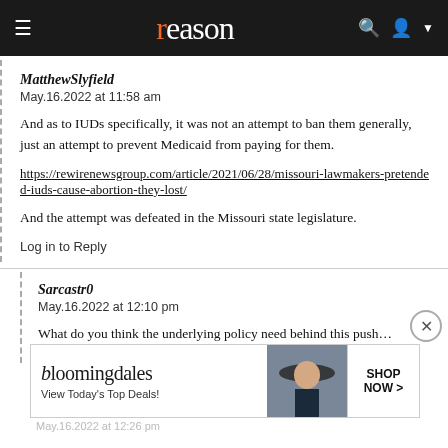reason
MatthewSlyfield
May.16.2022 at 11:58 am
And as to IUDs specifically, it was not an attempt to ban them generally, just an attempt to prevent Medicaid from paying for them.
https://rewirenewsgroup.com/article/2021/06/28/missouri-lawmakers-pretended-iuds-cause-abortion-they-lost/
And the attempt was defeated in the Missouri state legislature.
Log in to Reply
Sarcastr0
May.16.2022 at 12:10 pm
What do you think the underlying policy need behind this push…
Log in to Reply
[Figure (screenshot): Bloomingdale's advertisement banner: 'View Today's Top Deals! SHOP NOW >']